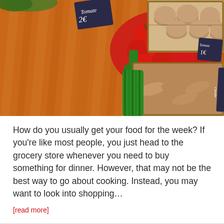[Figure (photo): A colorful farmers market vegetable display showing orange carrots on the left, bright red cherry tomatoes in the center, mushrooms in the upper right, green onions in the middle bottom, and parsnips/root vegetables in the lower right. Chalkboard price signs are visible in French (Tomate, Carotte).]
How do you usually get your food for the week? If you’re like most people, you just head to the grocery store whenever you need to buy something for dinner. However, that may not be the best way to go about cooking. Instead, you may want to look into shopping…
[read more]